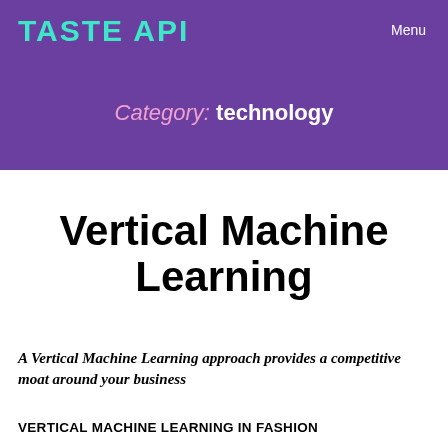TASTE API
Menu
Category: technology
Vertical Machine Learning
A Vertical Machine Learning approach provides a competitive moat around your business
VERTICAL MACHINE LEARNING IN FASHION